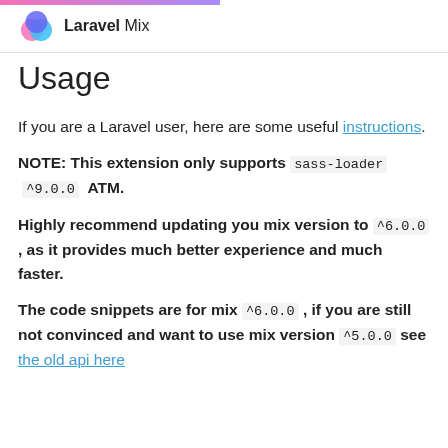Laravel Mix
Usage
If you are a Laravel user, here are some useful instructions.
NOTE: This extension only supports sass-loader ^9.0.0 ATM.
Highly recommend updating you mix version to ^6.0.0 , as it provides much better experience and much faster.
The code snippets are for mix ^6.0.0 , if you are still not convinced and want to use mix version ^5.0.0 see the old api here